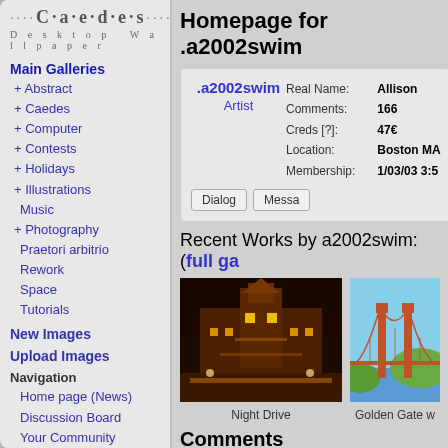[Figure (logo): Caedes Desktop Wallpaper logo with dotted lettering style]
Main Galleries
+ Abstract
+ Caedes
+ Computer
+ Contests
+ Holidays
+ Illustrations
Music
+ Photography
Praetori arbitrio
Rework
Space
Tutorials
New Images
Upload Images
Navigation
Home page (News)
Discussion Board
Your Community
Contests
Join the Cadre
Site Information
Wallpaper Search
Welcome guest
Homepage for .a2002swim
|  | Real Name: | Allison | Comments: | 166 | Creds [?]: | 47€ | Location: | Boston MA | Membership: | 1/03/03 3:5 |
| --- | --- | --- | --- | --- | --- | --- | --- | --- | --- | --- |
Recent Works by a2002swim: (full ga
[Figure (photo): Night Drive - illuminated ornate building at night]
Night Drive
[Figure (photo): Golden Gate bridge photo]
Golden Gate w
Comments
Post a Comment  -  Subscribe to this discussion